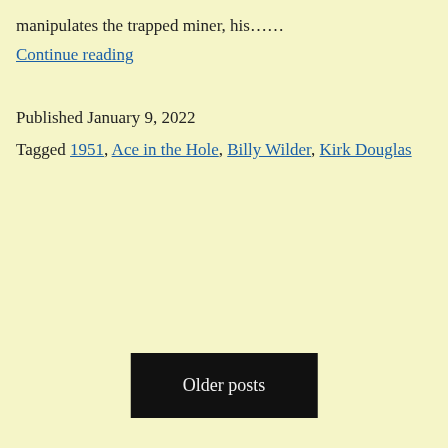manipulates the trapped miner, his……
Continue reading
Published January 9, 2022
Tagged 1951, Ace in the Hole, Billy Wilder, Kirk Douglas
Older posts